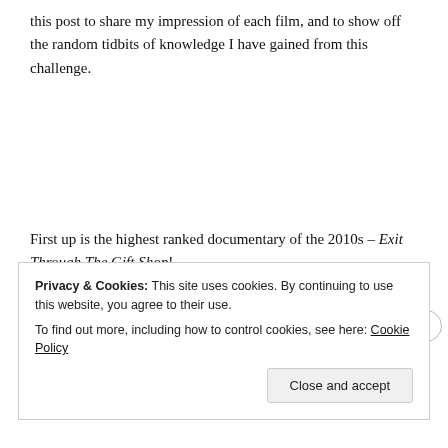this post to share my impression of each film, and to show off the random tidbits of knowledge I have gained from this challenge.
First up is the highest ranked documentary of the 2010s – Exit Through The Gift Shop!
Exit Through the Gift Shop (2010)
Privacy & Cookies: This site uses cookies. By continuing to use this website, you agree to their use. To find out more, including how to control cookies, see here: Cookie Policy